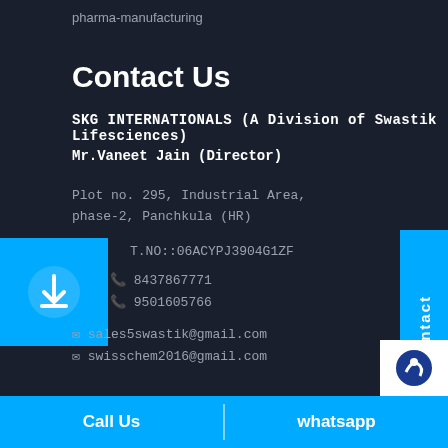pharma-manufacturing
Contact Us
SKG INTERNATIONALS (A Division of Swastik Lifesciences)
Mr.Vaneet Jain (Director)
Plot no. 295, Industrial Area, phase-2, Panchkula (HR)
T.NO::06ACYPJ3904G1ZF
8437867771
9501605766
sales5swastik@gmail.com
swisschem2016@gmail.com
Call Us   whatsapp